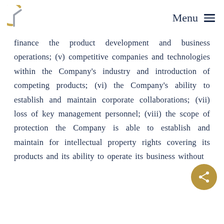Menu
finance the product development and business operations; (v) competitive companies and technologies within the Company's industry and introduction of competing products; (vi) the Company's ability to establish and maintain corporate collaborations; (vii) loss of key management personnel; (viii) the scope of protection the Company is able to establish and maintain for intellectual property rights covering its products and its ability to operate its business without